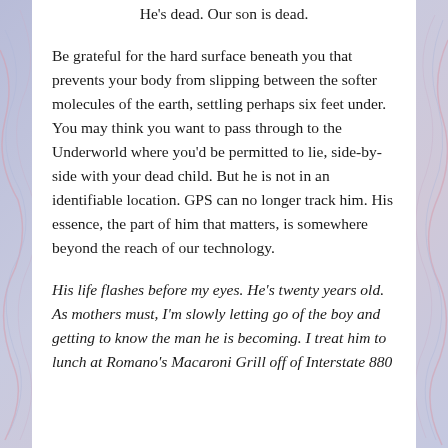He's dead. Our son is dead.
Be grateful for the hard surface beneath you that prevents your body from slipping between the softer molecules of the earth, settling perhaps six feet under. You may think you want to pass through to the Underworld where you'd be permitted to lie, side-by-side with your dead child. But he is not in an identifiable location. GPS can no longer track him. His essence, the part of him that matters, is somewhere beyond the reach of our technology.
His life flashes before my eyes. He's twenty years old. As mothers must, I'm slowly letting go of the boy and getting to know the man he is becoming. I treat him to lunch at Romano's Macaroni Grill off of Interstate 880